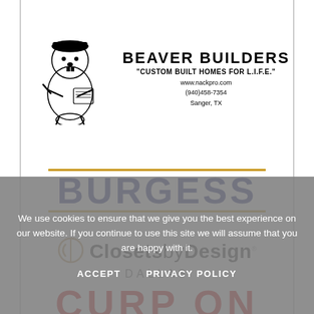[Figure (logo): Beaver Builders logo with cartoon beaver character illustration, company name 'BEAVER BUILDERS', tagline 'CUSTOM BUILT HOMES FOR L.I.F.E.', website www.nackpro.com, phone (940)458-7354, location Sanger, TX]
[Figure (logo): BURGESS company logo in large bold dark blue letters with gold/tan horizontal rules above and below]
[Figure (logo): Closets by Design Dallas logo with circular split icon in tan/gold, brand name in mixed weight text, DALLAS subtitle in spaced gray letters]
[Figure (logo): Partial red bold text logo, cropped at page bottom, letters partially visible]
We use cookies to ensure that we give you the best experience on our website. If you continue to use this site we will assume that you are happy with it.
ACCEPT    PRIVACY POLICY